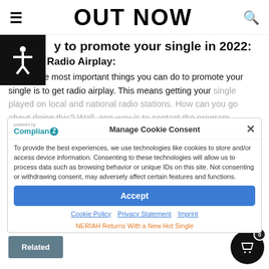OUT NOW
y to promote your single in 2022:
Getting Radio Airplay:
One of the most important things you can do to promote your single is to get radio airplay. This means getting your single played on local and national radio stations. How can you go about doing this? Well, one way is to contact the program directors at various radio stations and make a pitch for your song, along with information about who wrote it and who produced it. You can also include quotes from some of the DJs who have already played your song.
Manage Cookie Consent
To provide the best experiences, we use technologies like cookies to store and/or access device information. Consenting to these technologies will allow us to process data such as browsing behavior or unique IDs on this site. Not consenting or withdrawing consent, may adversely affect certain features and functions.
Accept
Cookie Policy  Privacy Statement  Imprint
NERIAH Returns With a New Hot Single
Related